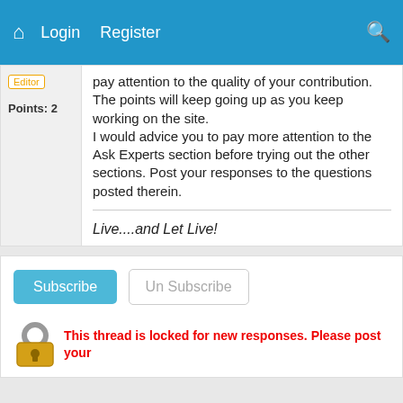Login  Register
pay attention to the quality of your contribution. The points will keep going up as you keep working on the site. I would advice you to pay more attention to the Ask Experts section before trying out the other sections. Post your responses to the questions posted therein.
Live....and Let Live!
Subscribe  Un Subscribe
This thread is locked for new responses. Please post your